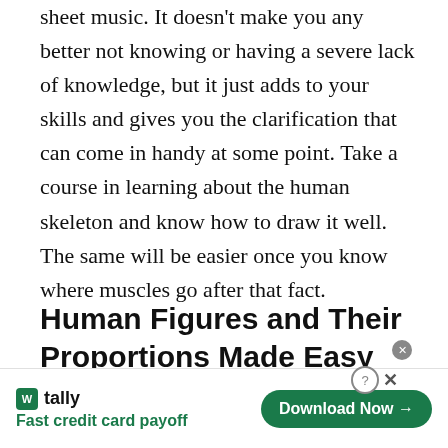sheet music. It doesn't make you any better not knowing or having a severe lack of knowledge, but it just adds to your skills and gives you the clarification that can come in handy at some point. Take a course in learning about the human skeleton and know how to draw it well. The same will be easier once you know where muscles go after that fact.
Human Figures and Their Proportions Made Easy
[Figure (screenshot): Advertisement banner for Tally app — 'Fast credit card payoff' with a green Download Now button]